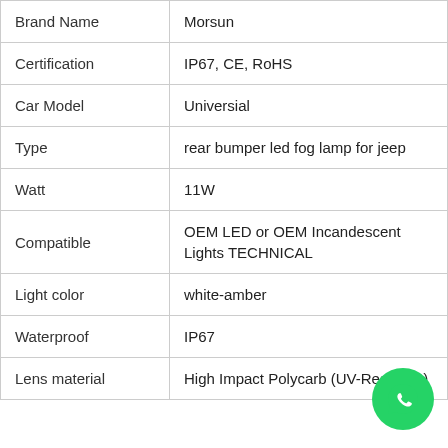| Brand Name | Morsun |
| Certification | IP67, CE, RoHS |
| Car Model | Universial |
| Type | rear bumper led fog lamp for jeep |
| Watt | 11W |
| Compatible | OEM LED or OEM Incandescent Lights TECHNICAL |
| Light color | white-amber |
| Waterproof | IP67 |
| Lens material | High Impact Polycarb (UV-Resistant) |